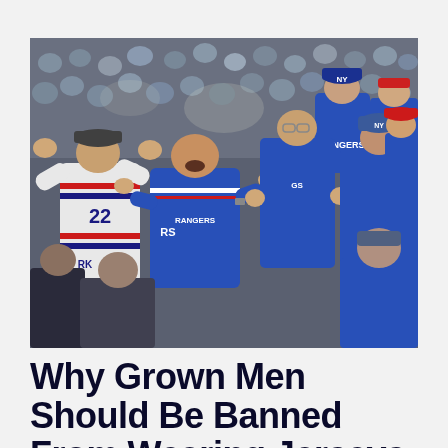[Figure (photo): Sports fans cheering enthusiastically at a hockey game, wearing New York Rangers blue jerseys. Multiple fans visible in stands with a large crowd in background.]
Why Grown Men Should Be Banned From Wearing Jerseys